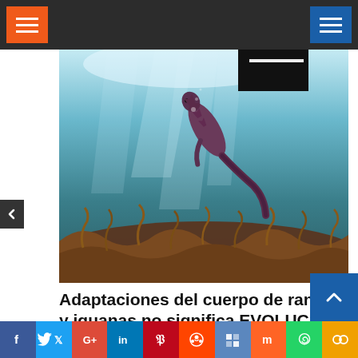Navigation bar with orange menu button and blue menu button
[Figure (photo): Underwater photograph of a marine iguana swimming beneath the ocean surface, with sunlight filtering through the water from above and rocky sea floor covered with algae below.]
Adaptaciones del cuerpo de ranas y iguanas no significa EVOLUCION de ninguna manera
La errónea "prueba evolutiva" de las Islas Galápagos El Universo.com erróneamente publicó un artículo en el
Social sharing bar: Facebook, Twitter, Google+, LinkedIn, Pinterest, Reddit, Digg, Mix, WhatsApp, Share